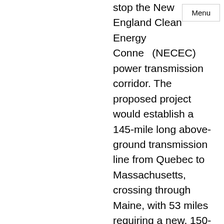stop the New England Clean Energy Connect (NECEC) power transmission corridor. The proposed project would establish a 145-mile long above-ground transmission line from Quebec to Massachusetts, crossing through Maine, with 53 miles requiring a new, 150-footwide corridor […]
Menu